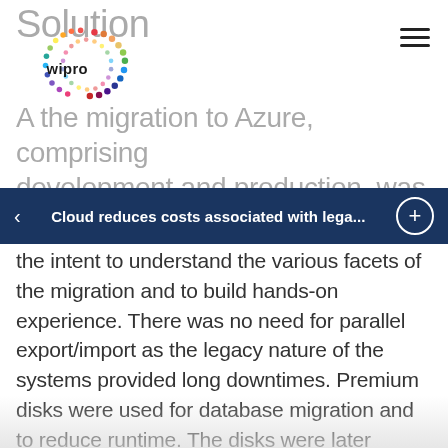Solution
[Figure (logo): Wipro company logo with colorful dot circle pattern]
A the migration to Azure, comprising development and production, was planned for the the intent to understand the various facets of the migration and to build hands-on experience. There was no need for parallel export/import as the legacy nature of the systems provided long downtimes. Premium disks were used for database migration and to reduce runtime. The disks were later changed back to standard to reduce costs.
Cloud reduces costs associated with lega...
The development systems were shut down because they were not required on a regular basis while the production was launched. All systems were upgraded to the latest operating system